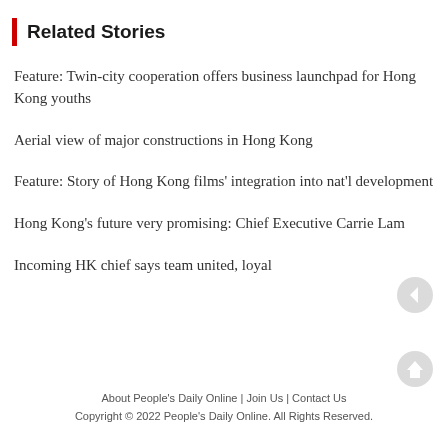Related Stories
Feature: Twin-city cooperation offers business launchpad for Hong Kong youths
Aerial view of major constructions in Hong Kong
Feature: Story of Hong Kong films' integration into nat'l development
Hong Kong's future very promising: Chief Executive Carrie Lam
Incoming HK chief says team united, loyal
About People's Daily Online | Join Us | Contact Us
Copyright © 2022 People's Daily Online. All Rights Reserved.